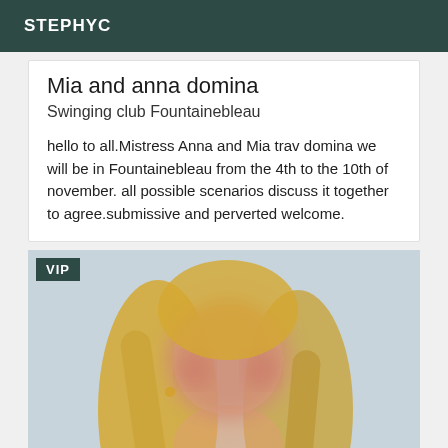STEPHYC
Mia and anna domina
Swinging club Fountainebleau
hello to all.Mistress Anna and Mia trav domina we will be in Fountainebleau from the 4th to the 10th of november. all possible scenarios discuss it together to agree.submissive and perverted welcome.
[Figure (photo): Blurred/anonymized photo of a blonde person against a light blue-grey background, with a VIP badge overlay in the top-left corner.]